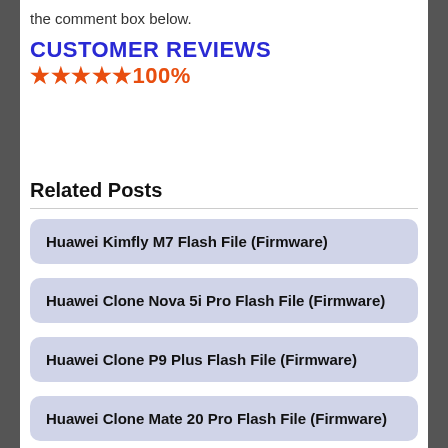the comment box below.
CUSTOMER REVIEWS ★★★★★100%
Related Posts
Huawei Kimfly M7 Flash File (Firmware)
Huawei Clone Nova 5i Pro Flash File (Firmware)
Huawei Clone P9 Plus Flash File (Firmware)
Huawei Clone Mate 20 Pro Flash File (Firmware)